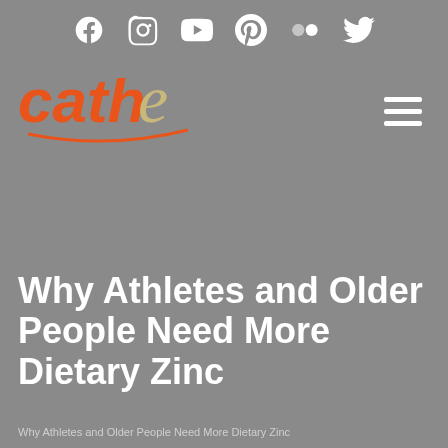Social media navigation icons: Facebook, Instagram, YouTube, Pinterest, Flickr, Twitter
[Figure (logo): Cathe logo in orange and tan italic font with a curved underline]
Why Athletes and Older People Need More Dietary Zinc
Why Athletes and Older People Need More Dietary Zinc